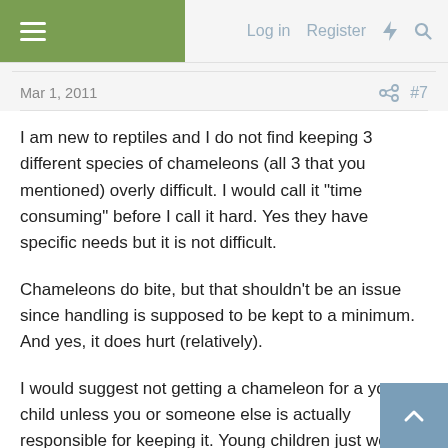Log in  Register
Mar 1, 2011
#7
I am new to reptiles and I do not find keeping 3 different species of chameleons (all 3 that you mentioned) overly difficult. I would call it "time consuming" before I call it hard. Yes they have specific needs but it is not difficult.
Chameleons do bite, but that shouldn't be an issue since handling is supposed to be kept to a minimum. And yes, it does hurt (relatively).
I would suggest not getting a chameleon for a young child unless you or someone else is actually responsible for keeping it. Young children just won't keep up the routine that is needed for a chameleon to thrive.